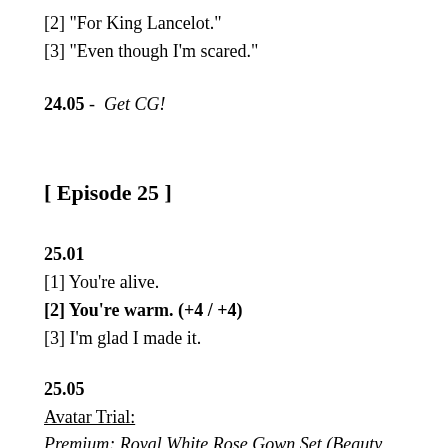[2] "For King Lancelot."
[3] "Even though I'm scared."
24.05 -  Get CG!
[ Episode 25 ]
25.01
[1] You're alive.
[2] You're warm. (+4 / +4)
[3] I'm glad I made it.
25.05
Avatar Trial:
Premium: Royal White Rose Gown Set (Beauty +180) - 900 Magic Stones